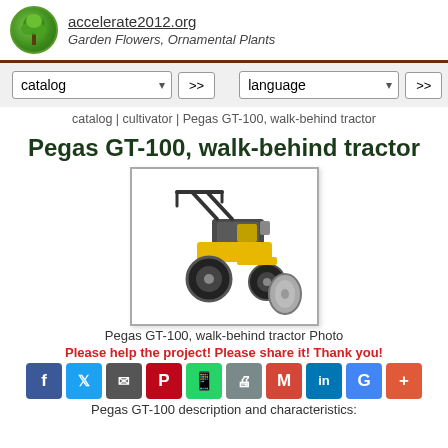accelerate2012.org — Garden Flowers, Ornamental Plants
catalog | cultivator | Pegas GT-100, walk-behind tractor
Pegas GT-100, walk-behind tractor
[Figure (photo): Photo of Pegas GT-100 walk-behind tractor, yellow and black, with tilling attachment]
Pegas GT-100, walk-behind tractor Photo
Please help the project! Please share it! Thank you!
[Figure (infographic): Social media share buttons: Facebook, Twitter, Email, Pinterest, WhatsApp, Print, Gmail, LinkedIn, Google, Plus]
Pegas GT-100 description and characteristics: